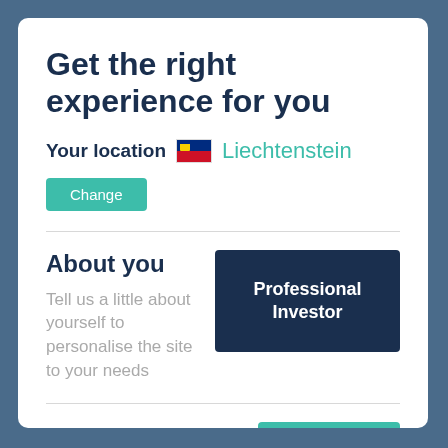Get the right experience for you
Your location  Liechtenstein
Change
About you
Tell us a little about yourself to personalise the site to your needs
Professional Investor
Global page >
I agree